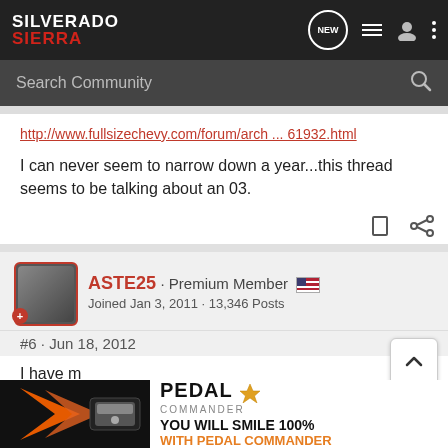SILVERADO SIERRA
http://www.fullsizechevy.com/forum/arch ... 61932.html
I can never seem to narrow down a year...this thread seems to be talking about an 03.
ASTE25 · Premium Member
Joined Jan 3, 2011 · 13,346 Posts
#6 · Jun 18, 2012
I have m
pressure
[Figure (screenshot): Pedal Commander advertisement banner with orange/black design and text 'YOU WILL SMILE 100% WITH PEDAL COMMANDER']